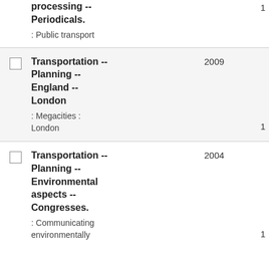processing -- Periodicals.
: Public transport
1
Transportation -- Planning -- England -- London
: Megacities : London
2009
1
Transportation -- Planning -- Environmental aspects -- Congresses.
: Communicating environmentally
2004
1